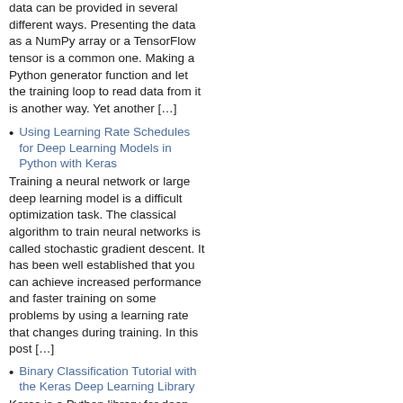data can be provided in several different ways. Presenting the data as a NumPy array or a TensorFlow tensor is a common one. Making a Python generator function and let the training loop to read data from it is another way. Yet another […]
Using Learning Rate Schedules for Deep Learning Models in Python with Keras
Training a neural network or large deep learning model is a difficult optimization task. The classical algorithm to train neural networks is called stochastic gradient descent. It has been well established that you can achieve increased performance and faster training on some problems by using a learning rate that changes during training. In this post […]
Binary Classification Tutorial with the Keras Deep Learning Library
Keras is a Python library for deep learning that wraps the efficient numerical libraries TensorFlow and Theano. Keras allows you to quickly and simply design and train neural network and deep learning models. In this post you will discover how to effectively use the Keras library in your machine learning project by working through a […]
Dropout Regularization in Deep Learning Models With Keras
A simple and powerful regularization technique for neural networks and deep learning models is dropout. In